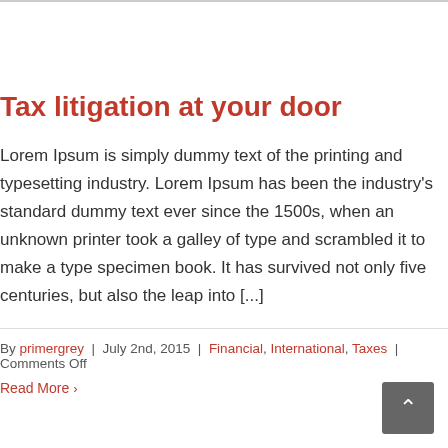Tax litigation at your door
Lorem Ipsum is simply dummy text of the printing and typesetting industry. Lorem Ipsum has been the industry's standard dummy text ever since the 1500s, when an unknown printer took a galley of type and scrambled it to make a type specimen book. It has survived not only five centuries, but also the leap into [...]
By primergrey | July 2nd, 2015 | Financial, International, Taxes | Comments Off
Read More >